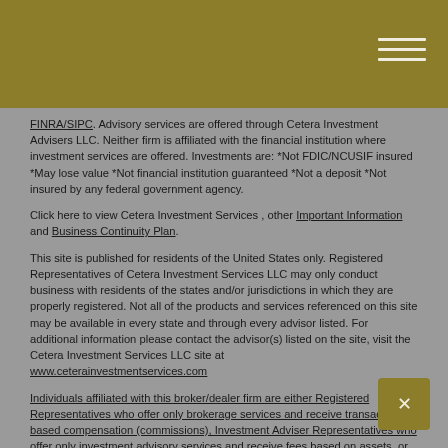FINRA/SIPC. Advisory services are offered through Cetera Investment Advisers LLC. Neither firm is affiliated with the financial institution where investment services are offered. Investments are: *Not FDIC/NCUSIF insured *May lose value *Not financial institution guaranteed *Not a deposit *Not insured by any federal government agency.
Click here to view Cetera Investment Services , other Important Information and Business Continuity Plan.
This site is published for residents of the United States only. Registered Representatives of Cetera Investment Services LLC may only conduct business with residents of the states and/or jurisdictions in which they are properly registered. Not all of the products and services referenced on this site may be available in every state and through every advisor listed. For additional information please contact the advisor(s) listed on the site, visit the Cetera Investment Services LLC site at www.ceterainvestmentservices.com
Individuals affiliated with this broker/dealer firm are either Registered Representatives who offer only brokerage services and receive transaction-based compensation (commissions), Investment Adviser Representatives who offer only investment advisory services and receive fees based on assets, or both Registered Representatives and Investment Adviser Representatives, who can offer both types of services.